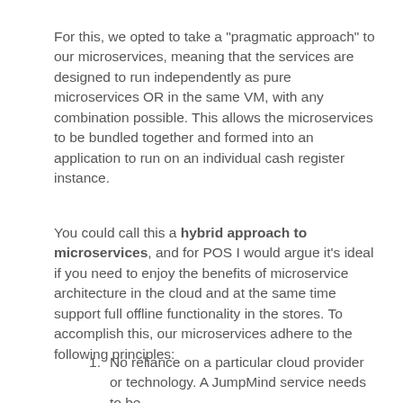For this, we opted to take a "pragmatic approach" to our microservices, meaning that the services are designed to run independently as pure microservices OR in the same VM, with any combination possible. This allows the microservices to be bundled together and formed into an application to run on an individual cash register instance.
You could call this a hybrid approach to microservices, and for POS I would argue it's ideal if you need to enjoy the benefits of microservice architecture in the cloud and at the same time support full offline functionality in the stores. To accomplish this, our microservices adhere to the following principles:
No reliance on a particular cloud provider or technology. A JumpMind service needs to be